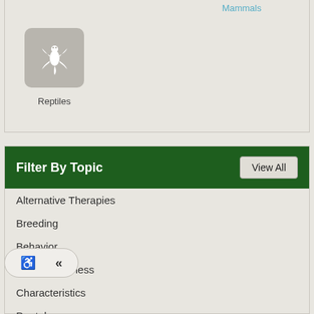Mammals
[Figure (illustration): Reptile category icon - white lizard/gecko silhouette on gray rounded square background]
Reptiles
Filter By Topic
Alternative Therapies
Breeding
Behavior
Care & Wellness
Characteristics
Dental
Diagnosis
Emergency Situations
ous Diseases
Medications
Medical Conditions